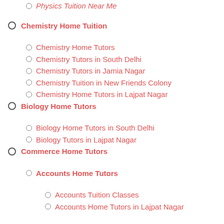Physics Tuition Near Me
Chemistry Home Tuition
Chemistry Home Tutors
Chemistry Tutors in South Delhi
Chemistry Tutors in Jamia Nagar
Chemistry Tuition in New Friends Colony
Chemistry Home Tutors in Lajpat Nagar
Biology Home Tutors
Biology Home Tutors in South Delhi
Biology Tutors in Lajpat Nagar
Commerce Home Tutors
Accounts Home Tutors
Accounts Tuition Classes
Accounts Home Tutors in Lajpat Nagar